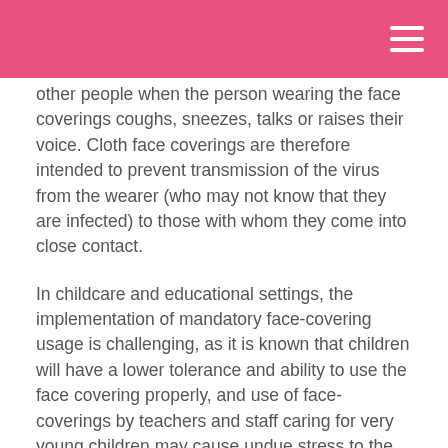other people when the person wearing the face coverings coughs, sneezes, talks or raises their voice. Cloth face coverings are therefore intended to prevent transmission of the virus from the wearer (who may not know that they are infected) to those with whom they come into close contact.
In childcare and educational settings, the implementation of mandatory face-covering usage is challenging, as it is known that children will have a lower tolerance and ability to use the face covering properly, and use of face-coverings by teachers and staff caring for very young children may cause undue stress to the children.
It is not recommended that children attending primary school wear face-coverings.
It is now a requirement for face coverings to be worn by